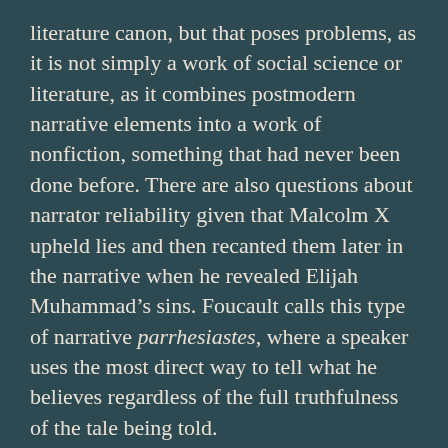literature canon, but that poses problems, as it is not simply a work of social science or literature, as it combines postmodern narrative elements into a work of nonfiction, something that had never been done before. There are also questions about narrator reliability given that Malcolm X upheld lies and then recanted them later in the narrative when he revealed Elijah Muhammad's sins. Foucault calls this type of narrative parrhesiastes, where a speaker uses the most direct way to tell what he believes regardless of the full truthfulness of the tale being told.
“Maya Angelou, Toni Morrison, Alice Walker”
This section discusses these three authors in